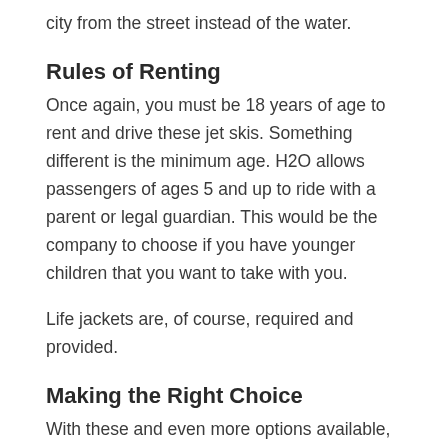city from the street instead of the water.
Rules of Renting
Once again, you must be 18 years of age to rent and drive these jet skis. Something different is the minimum age. H2O allows passengers of ages 5 and up to ride with a parent or legal guardian. This would be the company to choose if you have younger children that you want to take with you.
Life jackets are, of course, required and provided.
Making the Right Choice
With these and even more options available, you will have to assess your own unique situation to see